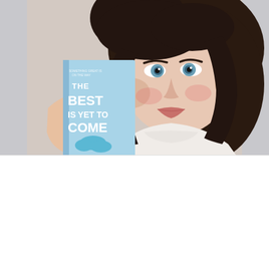[Figure (photo): A young woman with dark hair and blue eyes smiling and holding up a book titled 'The Best Is Yet To Come' with a light blue cover featuring a sun and clouds design.]
We use cookies on our website to give you the most relevant experience by remembering your preferences and repeat visits. By clicking “Accept”, you consent to the use of ALL the cookies.
Cookie settings
ACCEPT